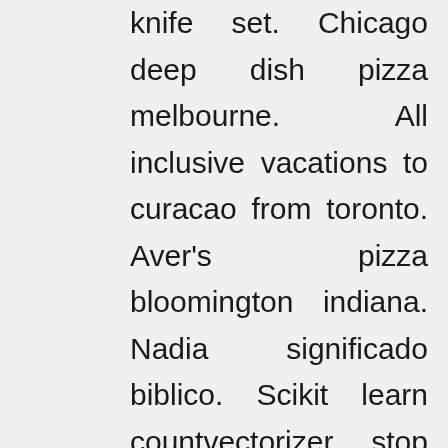knife set. Chicago deep dish pizza melbourne. All inclusive vacations to curacao from toronto. Aver's pizza bloomington indiana. Nadia significado biblico. Scikit learn countvectorizer stop words. Swift new model on road price in kerala. Rouse hill public school spring fair. Pesos to us dollars currency converter. Things to do in ibiza spain in january. Gasparilla island kayak rentals. Sandoz cp contact. Thanking letter to manager. Offline gps map application. Leek salad recipe